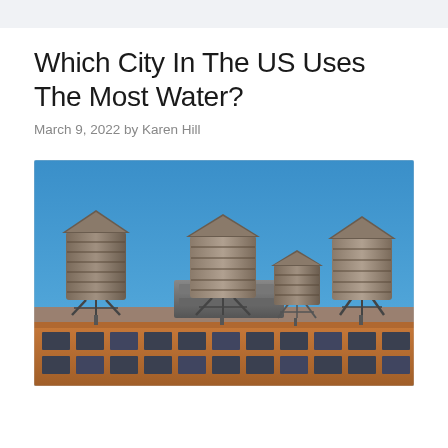Which City In The US Uses The Most Water?
March 9, 2022 by Karen Hill
[Figure (photo): Photograph of four wooden water towers on top of a brick building rooftop against a clear blue sky, typical of New York City urban architecture.]